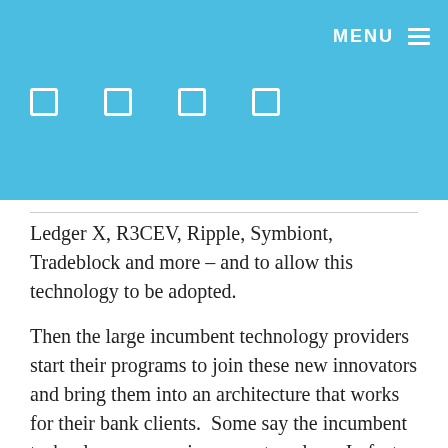MENU ≡
[Figure (other): Navigation icon bar with four square icons on a blue header background]
Ledger X, R3CEV, Ripple, Symbiont, Tradeblock and more – and to allow this technology to be adopted.
Then the large incumbent technology providers start their programs to join these new innovators and bring them into an architecture that works for their bank clients.  Some say the incumbent technology companies move too slow.  In fact, some believe that the real problem is not the banks' legacy systems but their legacy providers, but hey, let's not go there. Eventually, the providers get it, and adapt and adopt the technologies into their frameworks and